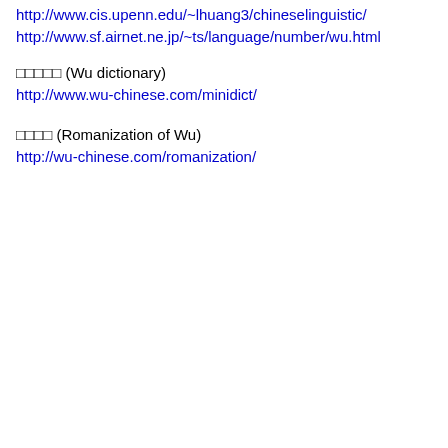http://www.cis.upenn.edu/~lhuang3/chineselinguistic/
http://www.sf.airnet.ne.jp/~ts/language/number/wu.html
□□□□□ (Wu dictionary)
http://www.wu-chinese.com/minidict/
□□□□ (Romanization of Wu)
http://wu-chinese.com/romanization/